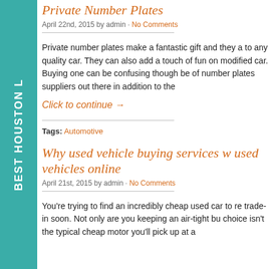Private Number Plates
April 22nd, 2015 by admin · No Comments
Private number plates make a fantastic gift and they a… to any quality car. They can also add a touch of fun on… modified car. Buying one can be confusing though be… of number plates suppliers out there in addition to the…
Click to continue →
Tags: Automotive
Why used vehicle buying services w… used vehicles online
April 21st, 2015 by admin · No Comments
You're trying to find an incredibly cheap used car to re… trade-in soon. Not only are you keeping an air-tight bu… choice isn't the typical cheap motor you'll pick up at a…